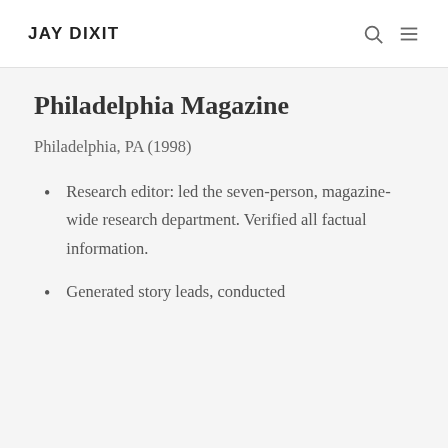JAY DIXIT
Philadelphia Magazine
Philadelphia, PA (1998)
Research editor: led the seven-person, magazine-wide research department. Verified all factual information.
Generated story leads, conducted